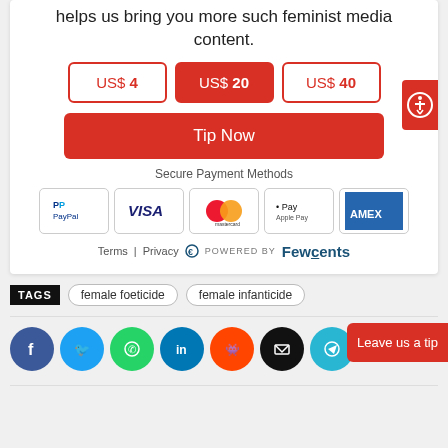helps us bring you more such feminist media content.
US$ 4  US$ 20  US$ 40
Tip Now
Secure Payment Methods
[Figure (logo): Payment method logos: PayPal, VISA, Mastercard, Apple Pay, Amex]
Terms | Privacy  POWERED BY Fewcents
TAGS  female foeticide  female infanticide
[Figure (infographic): Social share buttons: Facebook, Twitter, WhatsApp, LinkedIn, Reddit, Email, Telegram. Leave us a tip button on right.]